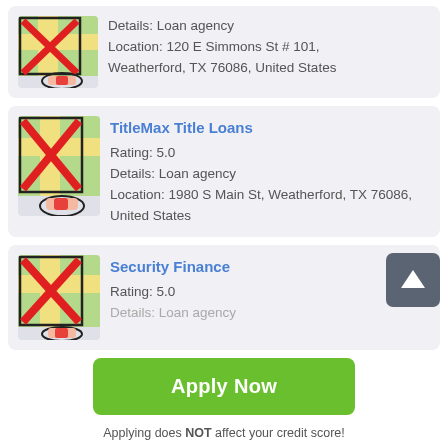Details: Loan agency
Location: 120 E Simmons St # 101, Weatherford, TX 76086, United States
TitleMax Title Loans
Rating: 5.0
Details: Loan agency
Location: 1980 S Main St, Weatherford, TX 76086, United States
Security Finance
Rating: 5.0
Details: Loan agency
Apply Now
Applying does NOT affect your credit score!
No credit check to apply.